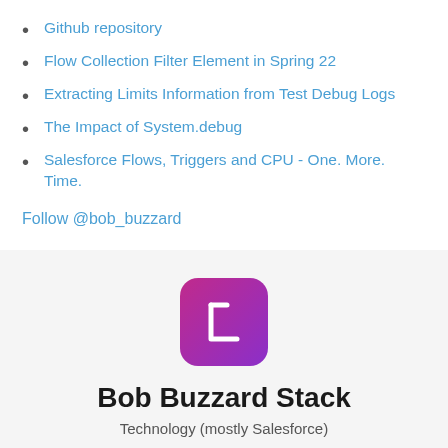Github repository
Flow Collection Filter Element in Spring 22
Extracting Limits Information from Test Debug Logs
The Impact of System.debug
Salesforce Flows, Triggers and CPU - One. More. Time.
Follow @bob_buzzard
[Figure (logo): Bob Buzzard Stack app icon — pink/purple rounded square with a stylized white L/bookmark shape]
Bob Buzzard Stack
Technology (mostly Salesforce)